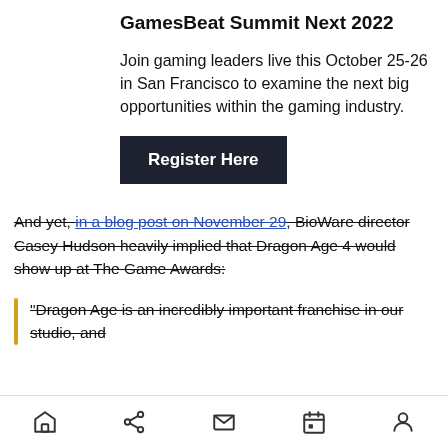GamesBeat Summit Next 2022
Join gaming leaders live this October 25-26 in San Francisco to examine the next big opportunities within the gaming industry.
Register Here
And yet, in a blog post on November 29, BioWare director Casey Hudson heavily implied that Dragon Age 4 would show up at The Game Awards:
“Dragon Age is an incredibly important franchise in our studio, and